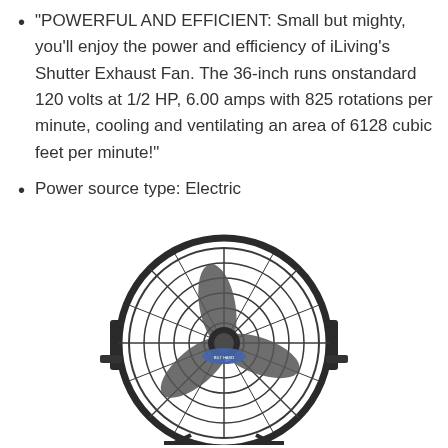"POWERFUL AND EFFICIENT: Small but mighty, you'll enjoy the power and efficiency of iLiving's Shutter Exhaust Fan. The 36-inch runs onstandard 120 volts at 1/2 HP, 6.00 amps with 825 rotations per minute, cooling and ventilating an area of 6128 cubic feet per minute!"
Power source type: Electric
[Figure (photo): Photo of a large black industrial floor fan (Bilt Hard brand) with circular metal guard grille, three blades, and a stand/tilt bracket, viewed from the front.]